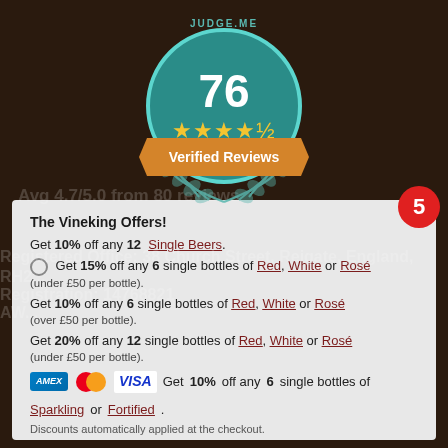[Figure (logo): Judge.me verified reviews badge showing 76 reviews with 4.5 stars rating and teal circular badge with ribbon and laurel leaves]
The Vineking Offers!
Get 10% off any 12 Single Beers.
Get 15% off any 6 single bottles of Red, White or Rosé (under £50 per bottle).
Get 10% off any 6 single bottles of Red, White or Rosé (over £50 per bottle).
Get 20% off any 12 single bottles of Red, White or Rosé (under £50 per bottle).
Get 10% off any 6 single bottles of Sparkling or Fortified.
Discounts automatically applied at the checkout.